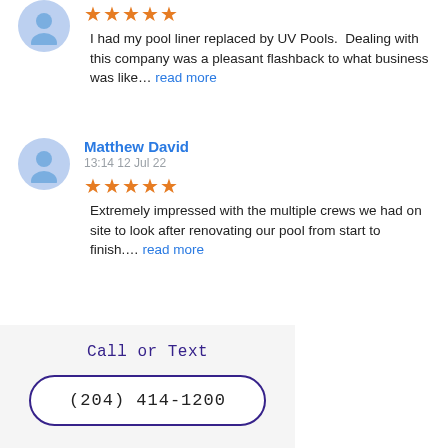I had my pool liner replaced by UV Pools. Dealing with this company was a pleasant flashback to what business was like... read more
Matthew David
13:14 12 Jul 22
Extremely impressed with the multiple crews we had on site to look after renovating our pool from start to finish.... read more
Next Reviews
Services
Call or Text
(204) 414-1200